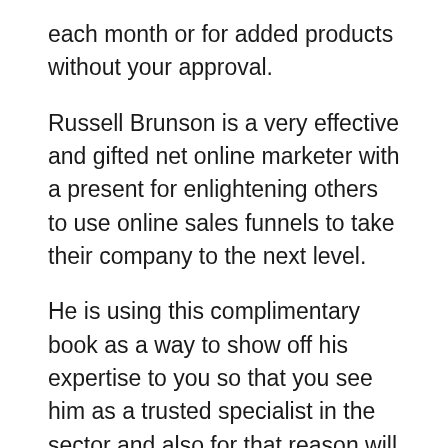each month or for added products without your approval.
Russell Brunson is a very effective and gifted net online marketer with a present for enlightening others to use online sales funnels to take their company to the next level.
He is using this complimentary book as a way to show off his expertise to you so that you see him as a trusted specialist in the sector and also for that reason will certainly be more